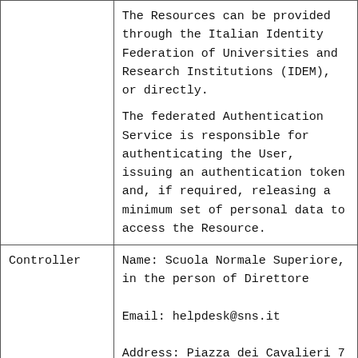|  | The Resources can be provided through the Italian Identity Federation of Universities and Research Institutions (IDEM), or directly.
The federated Authentication Service is responsible for authenticating the User, issuing an authentication token and, if required, releasing a minimum set of personal data to access the Resource. |
| Controller | Name: Scuola Normale Superiore, in the person of Direttore

Email: helpdesk@sns.it

Address: Piazza dei Cavalieri 7 – |